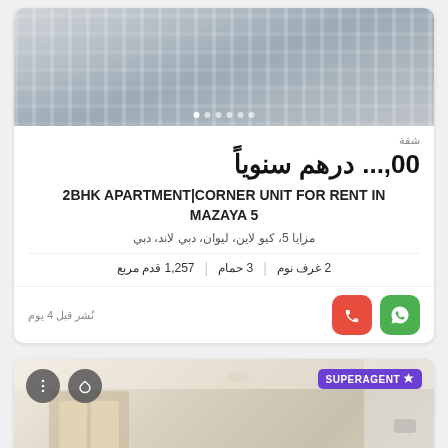[Figure (photo): Aerial or balcony view of building with grid-like facade, slider dots visible at bottom]
شقة
00,... درهم سنوياً
2BHK APARTMENT|CORNER UNIT FOR RENT IN MAZAYA 5
مزايا 5، كيو لاين، ليوان، دبي لاند، دبي
2 غرف نوم | 3 حمام | 1,257 قدم مربع
نُشر قبل 4 يوم
[Figure (photo): Interior photo of apartment room with SUPERAGENT badge, map button overlay, and ZOUMA watermark]